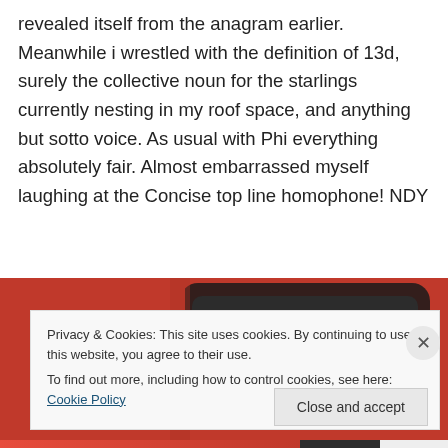revealed itself from the anagram earlier. Meanwhile i wrestled with the definition of 13d, surely the collective noun for the starlings currently nesting in my roof space, and anything but sotto voice. As usual with Phi everything absolutely fair. Almost embarrassed myself laughing at the Concise top line homophone! NDY
[Figure (photo): A red smartphone or device on a red background, partially visible, with camera lenses visible.]
Privacy & Cookies: This site uses cookies. By continuing to use this website, you agree to their use.
To find out more, including how to control cookies, see here: Cookie Policy
Close and accept